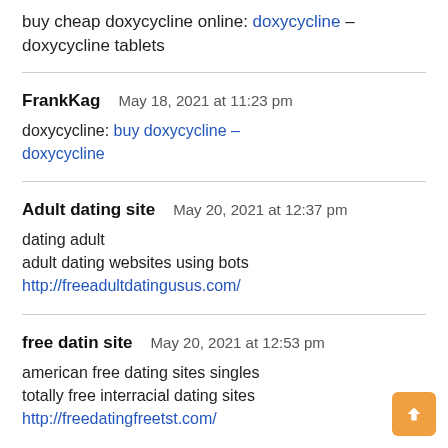buy cheap doxycycline online: doxycycline – doxycycline tablets
FrankKag   May 18, 2021 at 11:23 pm
doxycycline: buy doxycycline – doxycycline
Adult dating site   May 20, 2021 at 12:37 pm
dating adult
adult dating websites using bots
http://freeadultdatingusus.com/
free datin site   May 20, 2021 at 12:53 pm
american free dating sites singles
totally free interracial dating sites
http://freedatingfreetst.com/